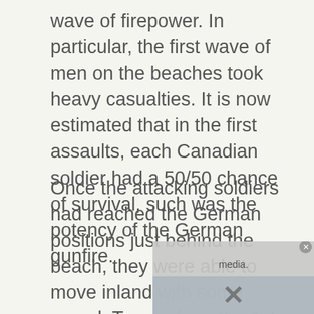wave of firepower. In particular, the first wave of men on the beaches took heavy casualties. It is now estimated that in the first assaults, each Canadian soldier had a 50/50 chance of survival, such was the potency of the German gunfire.
Once the attacking soldiers had reached the German positions just behind the beach, they were able to move inland with some speed. Troops from the 1st Hussar Tank Regiment reached the Caen-Bayeaux road and were the only part of the whole June 6th invasion to actually reach their designated target by the end
[Figure (screenshot): A partially visible ad/media overlay covering the lower right portion of the text, showing a close button (X circle) in the corner, text reading 'media.' and a partially visible beach photograph beneath a grey overlay.]